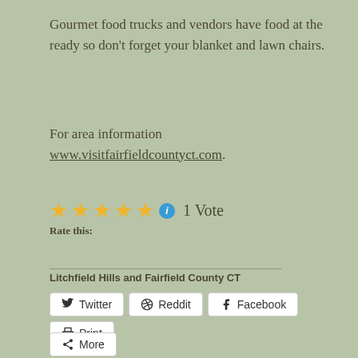Gourmet food trucks and vendors have food at the ready so don't forget your blanket and lawn chairs.
For area information www.visitfairfieldcountyct.com.
★★★★★ ℹ 1 Vote
Rate this:
Litchfield Hills and Fairfield County CT
Twitter  Reddit  Facebook  Print
More
Loading...
JUNE 26, 2013